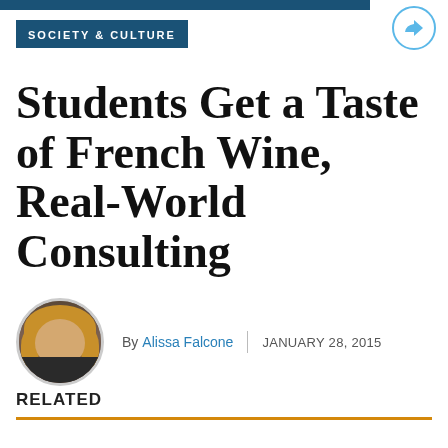SOCIETY & CULTURE
Students Get a Taste of French Wine, Real-World Consulting
By Alissa Falcone | JANUARY 28, 2015
RELATED